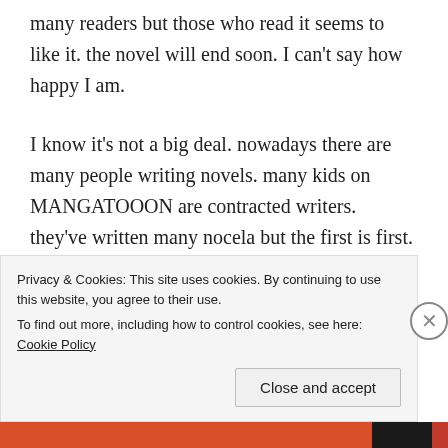many readers but those who read it seems to like it. the novel will end soon. I can't say how happy I am.
I know it's not a big deal. nowadays there are many people writing novels. many kids on MANGATOOON are contracted writers. they've written many nocela but the first is first. it's the first novel I will complete so it places a very special place in my ofcourse. I actually wasnt going to talk about this when i started writing this post…. I was just gonna say that I jave much to do but still I am scrolling weverse and pinterest… but end up
Privacy & Cookies: This site uses cookies. By continuing to use this website, you agree to their use.
To find out more, including how to control cookies, see here: Cookie Policy